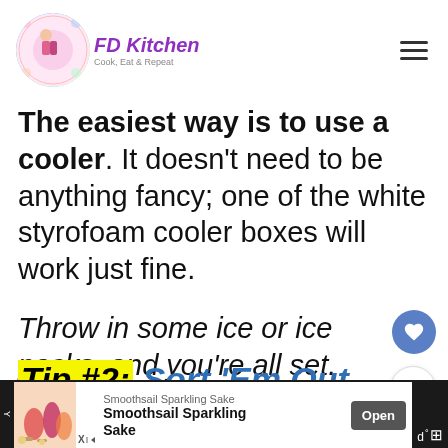FD Kitchen — Cook, Eat & Repeat
The easiest way is to use a cooler. It doesn't need to be anything fancy; one of the white styrofoam cooler boxes will work just fine.
Throw in some ice or ice packs, and you're all set.
Tip #2: Sort 'Em Out
[Figure (screenshot): Advertisement banner for Smoothsail Sparkling Sake with Open button]